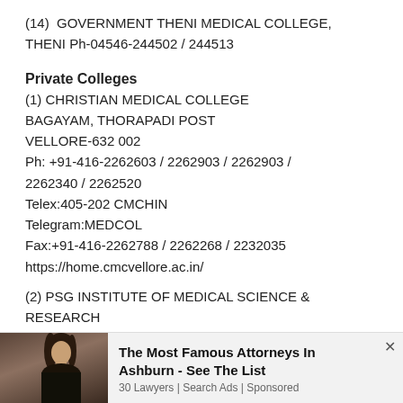(14)  GOVERNMENT THENI MEDICAL COLLEGE, THENI Ph-04546-244502 / 244513
Private Colleges
(1) CHRISTIAN MEDICAL COLLEGE BAGAYAM, THORAPADI POST VELLORE-632 002 Ph: +91-416-2262603 / 2262903 / 2262903 / 2262340 / 2262520 Telex:405-202 CMCHIN Telegram:MEDCOL Fax:+91-416-2262788 / 2262268 / 2232035 https://home.cmcvellore.ac.in/
(2) PSG INSTITUTE OF MEDICAL SCIENCE & RESEARCH
[Figure (infographic): Advertisement banner: photo of a woman with dark hair, headline 'The Most Famous Attorneys In Ashburn - See The List', subtext '30 Lawyers | Search Ads | Sponsored', with a close (×) button.]